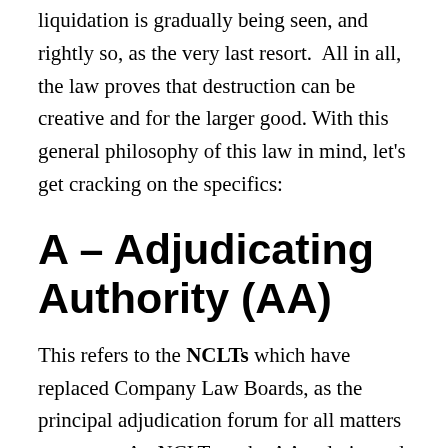liquidation is gradually being seen, and rightly so, as the very last resort.  All in all, the law proves that destruction can be creative and for the larger good. With this general philosophy of this law in mind, let's get cracking on the specifics:
A – Adjudicating Authority (AA)
This refers to the NCLTs which have replaced Company Law Boards, as the principal adjudication forum for all matters corporate. An NCLT, as the AA, admits and sets the ball rolling on a Corporate Insolvency Resolution Process (CIRP) by appointment of an Interim Resolution Professional and announcing a moratorium, which, for those who